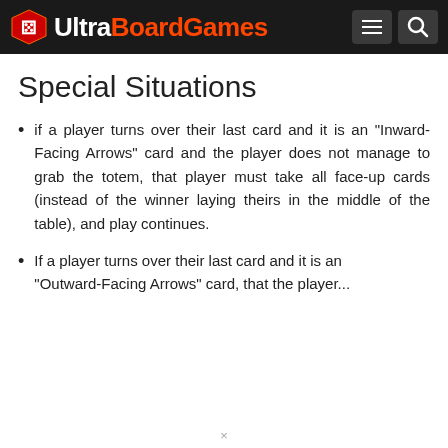UltraBoardGames
Special Situations
if a player turns over their last card and it is an "Inward-Facing Arrows" card and the player does not manage to grab the totem, that player must take all face-up cards (instead of the winner laying theirs in the middle of the table), and play continues.
If a player turns over their last card and it is an "Outward-Facing Arrows" card, that player...